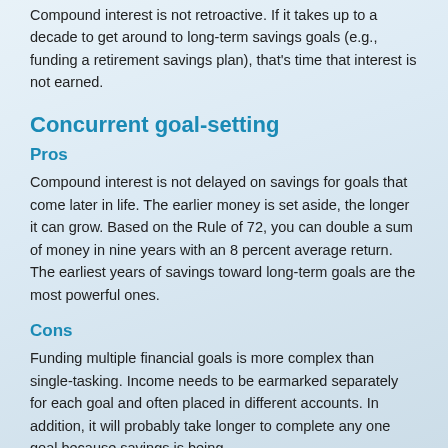Compound interest is not retroactive. If it takes up to a decade to get around to long-term savings goals (e.g., funding a retirement savings plan), that's time that interest is not earned.
Concurrent goal-setting
Pros
Compound interest is not delayed on savings for goals that come later in life. The earlier money is set aside, the longer it can grow. Based on the Rule of 72, you can double a sum of money in nine years with an 8 percent average return. The earliest years of savings toward long-term goals are the most powerful ones.
Cons
Funding multiple financial goals is more complex than single-tasking. Income needs to be earmarked separately for each goal and often placed in different accounts. In addition, it will probably take longer to complete any one goal because savings is being